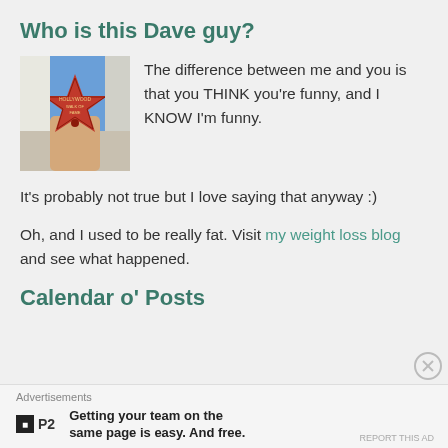Who is this Dave guy?
[Figure (photo): Photo of a person holding a red Hollywood Walk of Fame star]
The difference between me and you is that you THINK you're funny, and I KNOW I'm funny.
It's probably not true but I love saying that anyway :)
Oh, and I used to be really fat. Visit my weight loss blog and see what happened.
Calendar o' Posts
Advertisements
Getting your team on the same page is easy. And free.